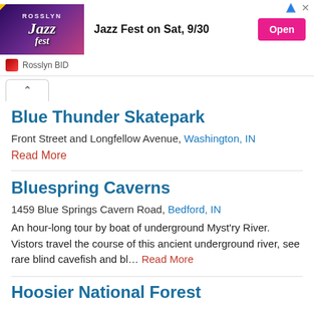[Figure (screenshot): Ad banner for Rosslyn Jazz Fest on Sat, 9/30 with Open button and Rosslyn BID branding]
Blue Thunder Skatepark
Front Street and Longfellow Avenue, Washington, IN
Read More
Bluespring Caverns
1459 Blue Springs Cavern Road, Bedford, IN
An hour-long tour by boat of underground Myst'ry River. Vistors travel the course of this ancient underground river, see rare blind cavefish and bl... Read More
Hoosier National Forest